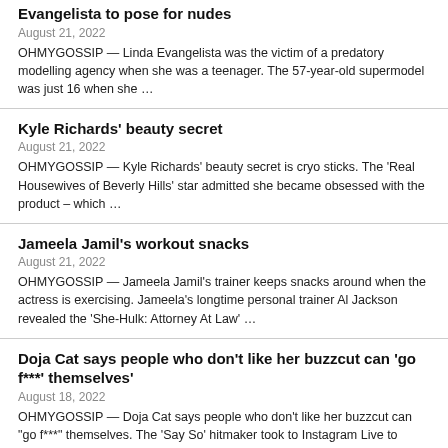Evangelista to pose for nudes
August 21, 2022
OHMYGOSSIP — Linda Evangelista was the victim of a predatory modelling agency when she was a teenager. The 57-year-old supermodel was just 16 when she …
Kyle Richards' beauty secret
August 21, 2022
OHMYGOSSIP — Kyle Richards' beauty secret is cryo sticks. The 'Real Housewives of Beverly Hills' star admitted she became obsessed with the product – which …
Jameela Jamil's workout snacks
August 21, 2022
OHMYGOSSIP — Jameela Jamil's trainer keeps snacks around when the actress is exercising. Jameela's longtime personal trainer Al Jackson revealed the 'She-Hulk: Attorney At Law' …
Doja Cat says people who don't like her buzzcut can 'go f***' themselves'
August 18, 2022
OHMYGOSSIP — Doja Cat says people who don't like her buzzcut can "go f***" themselves. The 'Say So' hitmaker took to Instagram Live to explain …